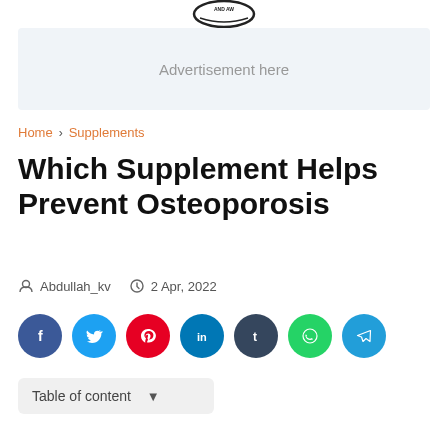[Figure (logo): Circular website logo with text at top]
[Figure (other): Advertisement placeholder box with text 'Advertisement here']
Home > Supplements
Which Supplement Helps Prevent Osteoporosis
Abdullah_kv  2 Apr, 2022
[Figure (infographic): Social share buttons: Facebook, Twitter, Pinterest, LinkedIn, Tumblr, WhatsApp, Telegram]
Table of content